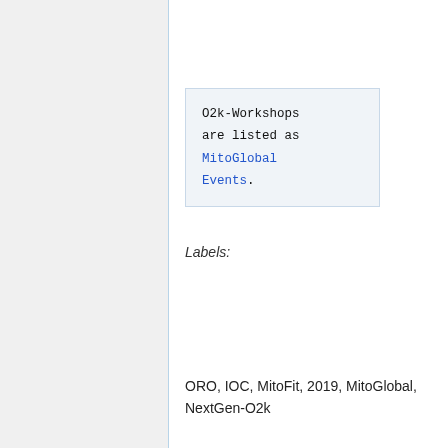O2k-Workshops are listed as MitoGlobal Events.
Labels:
ORO, IOC, MitoFit, 2019, MitoGlobal, NextGen-O2k